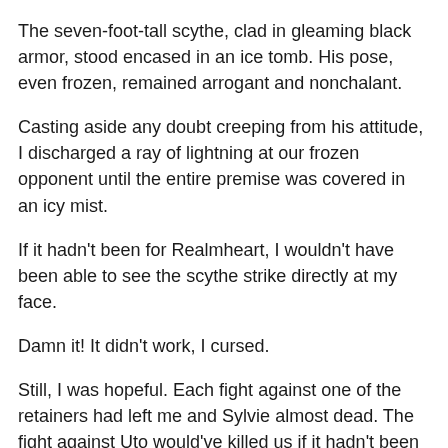The seven-foot-tall scythe, clad in gleaming black armor, stood encased in an ice tomb. His pose, even frozen, remained arrogant and nonchalant.
Casting aside any doubt creeping from his attitude, I discharged a ray of lightning at our frozen opponent until the entire premise was covered in an icy mist.
If it hadn't been for Realmheart, I wouldn't have been able to see the scythe strike directly at my face.
Damn it! It didn't work, I cursed.
Still, I was hopeful. Each fight against one of the retainers had left me and Sylvie almost dead. The fight against Uto would've killed us if it hadn't been for the scythe, Seris. But this time was different.
Even against a scythe, beings that were able to use the mana arts only asuras from the basilisk clans were able to